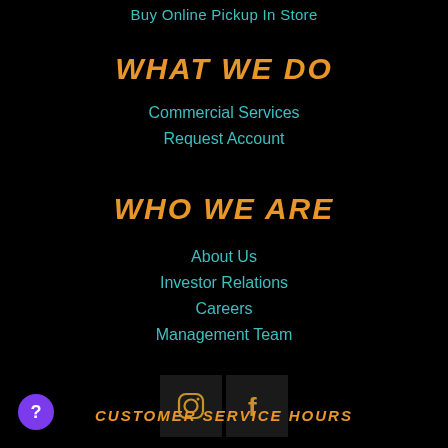Buy Online Pickup In Store
WHAT WE DO
Commercial Services
Request Account
WHO WE ARE
About Us
Investor Relations
Careers
Management Team
[Figure (other): Social media icons: Instagram and Facebook]
CUSTOMER SERVICE HOURS